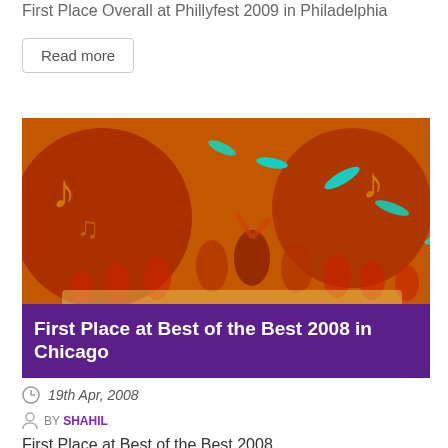First Place Overall at Phillyfest 2009 in Philadelphia
Read more
[Figure (photo): Dance performance on stage with colorful orange/red backdrop and music note decorations, dancers in yellow and red costumes]
First Place at Best of the Best 2008 in Chicago
19th Apr, 2008
BY SHAHIL
First Place at Best of the Best 2008
Read more